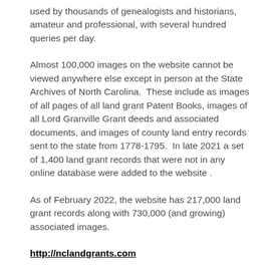used by thousands of genealogists and historians, amateur and professional, with several hundred queries per day.
Almost 100,000 images on the website cannot be viewed anywhere else except in person at the State Archives of North Carolina.  These include as images of all pages of all land grant Patent Books, images of all Lord Granville Grant deeds and associated documents, and images of county land entry records sent to the state from 1778-1795.  In late 2021 a set of 1,400 land grant records that were not in any online database were added to the website .
As of February 2022, the website has 217,000 land grant records along with 730,000 (and growing) associated images.
http://nclandgrants.com